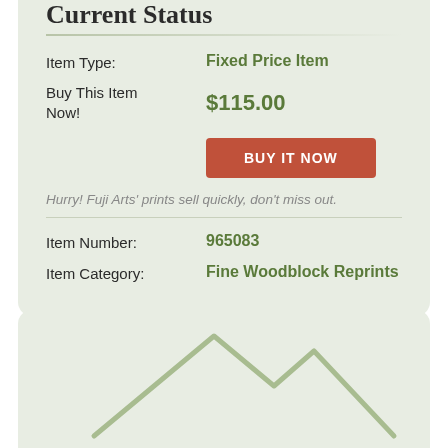Current Status
Item Type: Fixed Price Item
Buy This Item Now! $115.00
BUY IT NOW
Hurry! Fuji Arts' prints sell quickly, don't miss out.
Item Number: 965083
Item Category: Fine Woodblock Reprints
[Figure (logo): Mountain/landscape logo outline in light green at bottom of page]